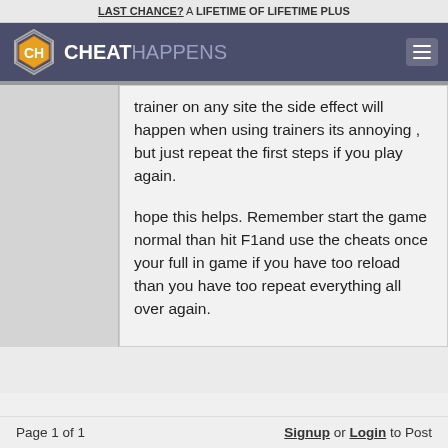LAST CHANCE? A LIFETIME OF LIFETIME PLUS
[Figure (logo): CheatHappens logo with hexagon icon and site name]
trainer on any site the side effect will happen when using trainers its annoying , but just repeat the first steps if you play again.
hope this helps. Remember start the game normal than hit F1and use the cheats once your full in game if you have too reload than you have too repeat everything all over again.
Page 1 of 1  Signup or Login to Post